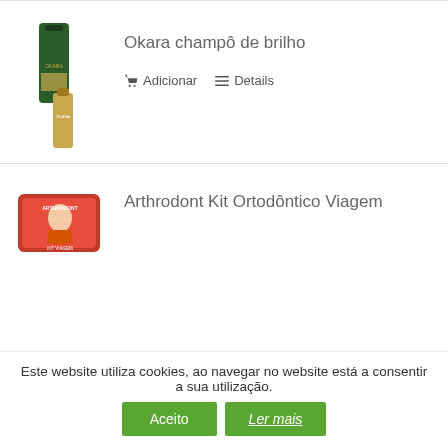[Figure (photo): Product image of Okara champô de brilho shampoo bottles (dark green and gold)]
Okara champô de brilho
🛒 Adicionar  ≡ Details
[Figure (photo): Product image of Arthrodont Kit Ortodôntico Viagem - red kit box with girl image]
Arthrodont Kit Ortodôntico Viagem
Este website utiliza cookies, ao navegar no website está a consentir a sua utilização.
Aceito
Ler mais